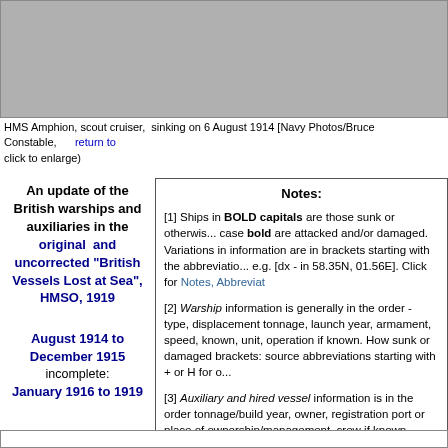[Figure (photo): Gray placeholder image area for HMS Amphion photo]
HMS Amphion, scout cruiser, sinking on 6 August 1914 [Navy Photos/Bruce Constable, return to... click to enlarge)
An update of the British warships and auxiliaries in the original and uncorrected "British Vessels Lost at Sea", HMSO, 1919
August 1914 to December 1915 incomplete: January 1916 to 1919
See also British warships and Auxiliaries Lost by Date
Notes:
[1] Ships in BOLD capitals are those sunk or otherwise lost; lower case bold are attacked and/or damaged. Variations in information are in brackets starting with the abbreviation, e.g. [dx - in 58.35N, 01.56E]. Click for Notes, Abbreviat...
[2] Warship information is generally in the order - type, displacement tonnage, launch year, armament, speed, known, unit, operation if known. How sunk or damaged brackets: source abbreviations starting with + or H for o...
[3] Auxiliary and hired vessel information is in the order tonnage/build year, owner, registration port or place of ownership/management, crew if known, master or skip... cargo, conditions if known. How sunk or damaged, live abbreviations starting with + or H for original HMSO]
[4] Link to Royal Navy casualty lists